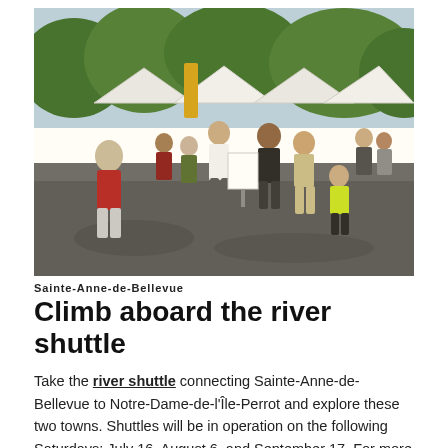[Figure (photo): Outdoor market or festival scene with crowds of people walking on a paved road under white tents, with a traffic cone visible, trees in background, sunny day.]
Sainte-Anne-de-Bellevue
Climb aboard the river shuttle
Take the river shuttle connecting Sainte-Anne-de-Bellevue to Notre-Dame-de-l'Île-Perrot and explore these two towns. Shuttles will be in operation on the following Saturdays: July 16, August 6, and September 17. For more information, visit the "River Shuttle" section on the town's website.
After…